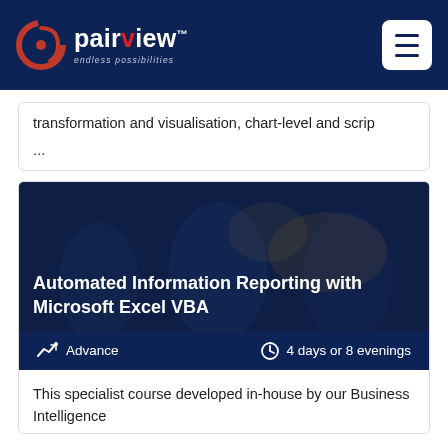[Figure (logo): Pairview logo with red swirl icon and tagline 'endless possibilities' on dark navy header]
...transformation and visualisation, chart-level and scrip
...
[Figure (photo): Dark blue banner image showing silhouettes of people in a training/office setting with title 'Automated Information Reporting with Microsoft Excel VBA' overlaid in white bold text]
Advance   4 days or 8 evenings
This specialist course developed in-house by our Business Intelligence